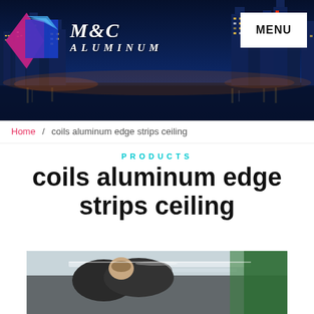[Figure (photo): M&C Aluminum website header banner with city skyline at night (Singapore-like skyline illuminated), company logo with diamond shape in pink/blue/purple, M&C ALUMINUM text in italic serif, and white MENU button on right]
Home / coils aluminum edge strips ceiling
PRODUCTS
coils aluminum edge strips ceiling
[Figure (photo): Photo of a worker/technician installing or working on aluminum ceiling edge strips, viewed from below, person wearing dark jacket]